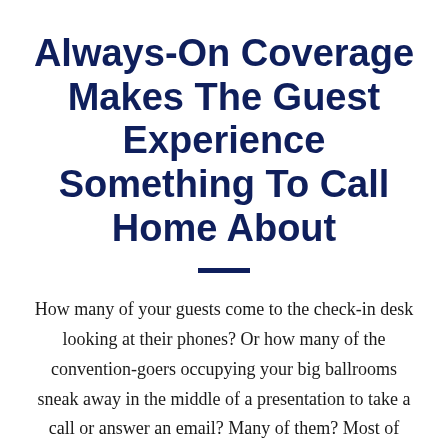Always-On Coverage Makes The Guest Experience Something To Call Home About
How many of your guests come to the check-in desk looking at their phones? Or how many of the convention-goers occupying your big ballrooms sneak away in the middle of a presentation to take a call or answer an email? Many of them? Most of them? Soon the answer